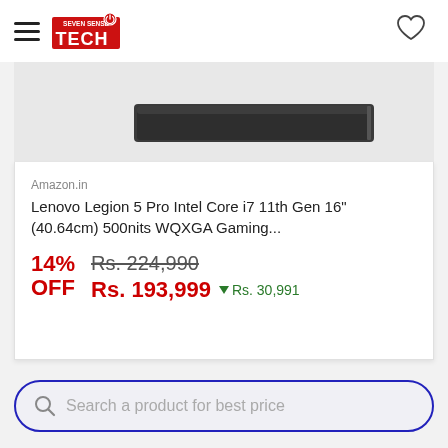Seven Sense Tech
[Figure (photo): Lenovo Legion 5 Pro laptop shown from above, closed, dark grey color]
Amazon.in
Lenovo Legion 5 Pro Intel Core i7 11th Gen 16" (40.64cm) 500nits WQXGA Gaming...
14% OFF   Rs. 224,990   Rs. 193,999 ▼ Rs. 30,991
Search a product for best price